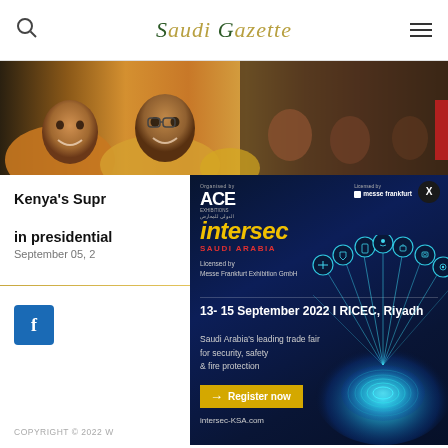Saudi Gazette
[Figure (photo): Photo strip showing smiling people at a rally or event, colorful clothing, outdoor setting]
Kenya's Supreme Court rules in presidential...
September 05, 2...
[Figure (infographic): Intersec Saudi Arabia advertisement. Licensed by Messe Frankfurt Exhibition GmbH. 13-15 September 2022 | RICEC, Riyadh. Saudi Arabia's leading trade fair for security, safety & fire protection. Register now. intersec-KSA.com. Logos for ACE Exhibitions and Messe Frankfurt. Glowing digital fingerprint/security technology illustration.]
COPYRIGHT © 2022 W...